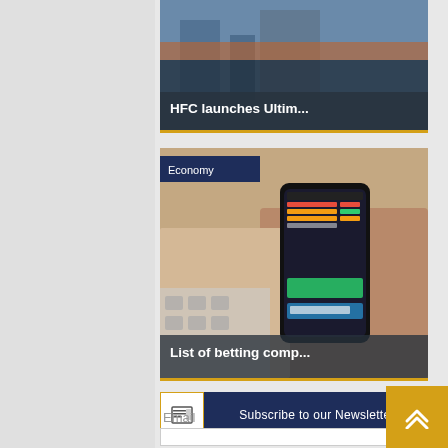[Figure (photo): Partial article card showing 'HFC launches Ultim...' with building/exterior photo and dark overlay title bar at bottom]
[Figure (photo): Article card with Economy badge, showing hands holding a smartphone with trading/betting app. Title: 'List of betting comp...' at bottom]
Subscribe to our Newsletter
Email